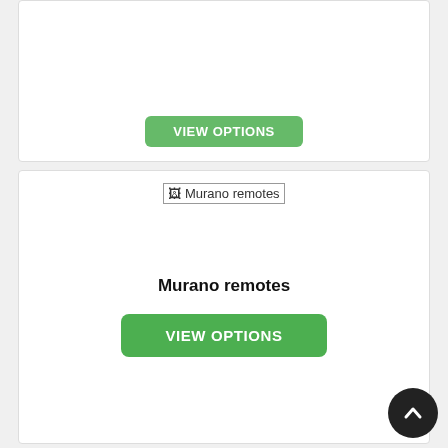[Figure (screenshot): Top card partially visible with a green VIEW OPTIONS button]
[Figure (screenshot): Broken image placeholder labeled Murano remotes]
Murano remotes
VIEW OPTIONS
[Figure (screenshot): Broken image placeholder labeled NV Remotes]
[Figure (illustration): Back to top circular dark button with upward chevron]